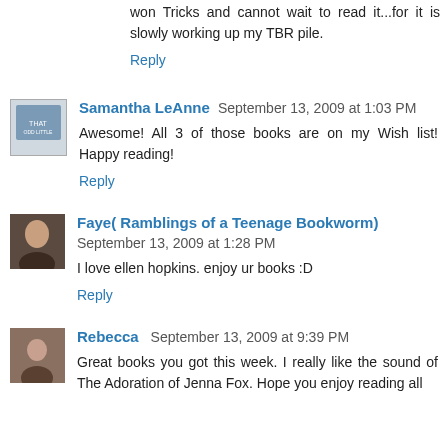won Tricks and cannot wait to read it...for it is slowly working up my TBR pile.
Reply
Samantha LeAnne  September 13, 2009 at 1:03 PM
Awesome! All 3 of those books are on my Wish list! Happy reading!
Reply
Faye( Ramblings of a Teenage Bookworm)  September 13, 2009 at 1:28 PM
I love ellen hopkins. enjoy ur books :D
Reply
Rebecca  September 13, 2009 at 9:39 PM
Great books you got this week. I really like the sound of The Adoration of Jenna Fox. Hope you enjoy reading all